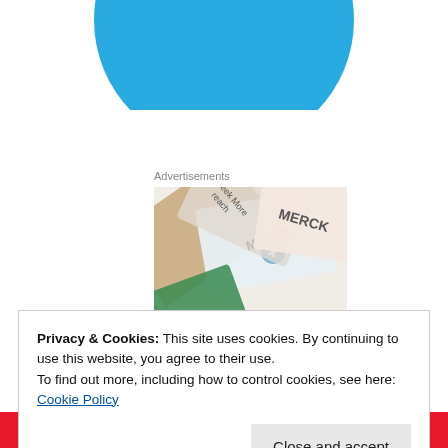[Figure (illustration): Blue circle/semicircle shape at top center of page, partially cropped]
Advertisements
[Figure (photo): Advertisement image showing Merck branded materials/packaging at overlapping angles with text 'Seek More', 'reach', 'MERCK' logos and cross symbols]
Privacy & Cookies: This site uses cookies. By continuing to use this website, you agree to their use.
To find out more, including how to control cookies, see here: Cookie Policy
Close and accept
for Very